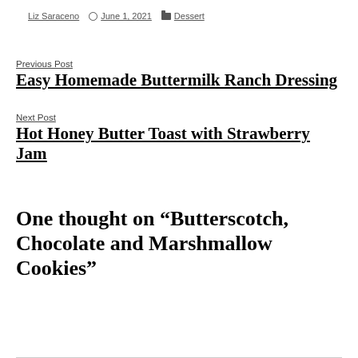By Liz Saraceno   June 1, 2021   Dessert
Previous Post
Easy Homemade Buttermilk Ranch Dressing
Next Post
Hot Honey Butter Toast with Strawberry Jam
One thought on “Butterscotch, Chocolate and Marshmallow Cookies”